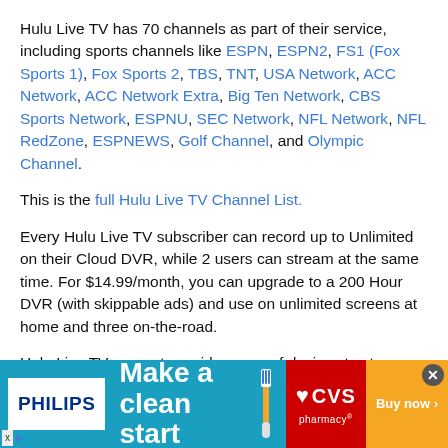Hulu Live TV has 70 channels as part of their service, including sports channels like ESPN, ESPN2, FS1 (Fox Sports 1), Fox Sports 2, TBS, TNT, USA Network, ACC Network, ACC Network Extra, Big Ten Network, CBS Sports Network, ESPNU, SEC Network, NFL Network, NFL RedZone, ESPNEWS, Golf Channel, and Olympic Channel.
This is the full Hulu Live TV Channel List.
Every Hulu Live TV subscriber can record up to Unlimited on their Cloud DVR, while 2 users can stream at the same time. For $14.99/month, you can upgrade to a 200 Hour DVR (with skippable ads) and use on unlimited screens at home and three on-the-road.
Hulu Live TV supports a wide-range of devices to stream Georgia Tech Yellow Jackets games including Amazon Fire TV, Apple TV, Google Chromecast, Roku, Android TV, iPhone/iPad, Android Phone/Tablet, Mac, Windows, PlayStation, Xbox, Nintendo, LG Smart TV, Samsung Smart TV, Sony Smart TV,
[Figure (infographic): Advertisement banner for Philips and CVS Pharmacy. Teal background with Philips logo in white box, large white text 'Make a clean start', toothbrush graphic, CVS pharmacy logo in red, and orange 'Buy now' button. Close button (X) in top right corner. Ad disclosure label bottom left.]